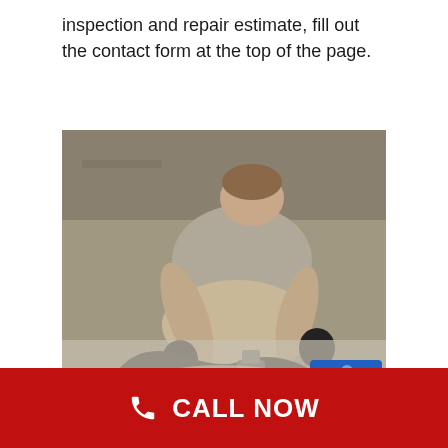inspection and repair estimate, fill out the contact form at the top of the page.
[Figure (photo): A worker in a gray shirt and black gloves kneeling on a wet concrete surface, using a tool/pump device connected to a hose, performing a concrete repair or leveling operation. A blue level tool is visible on the right.]
CALL NOW